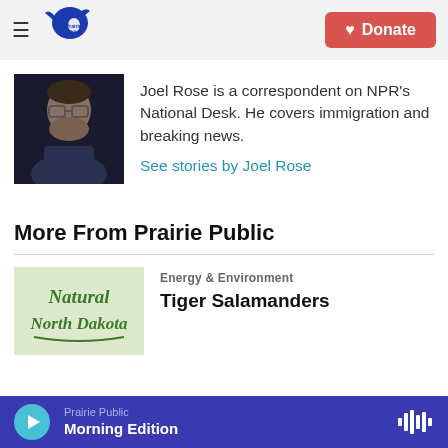Prairie Public — Donate
[Figure (photo): Headshot photo of Joel Rose, a man with glasses and beard against dark background]
Joel Rose is a correspondent on NPR's National Desk. He covers immigration and breaking news.
See stories by Joel Rose
More From Prairie Public
[Figure (photo): Natural North Dakota logo/thumbnail — green script text on light background]
Energy & Environment
Tiger Salamanders
Prairie Public — Morning Edition (player bar)